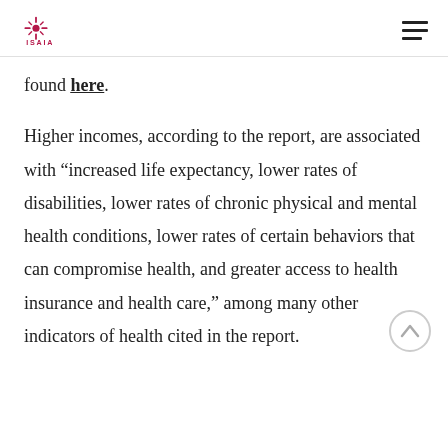ISAIAH
found here.
Higher incomes, according to the report, are associated with “increased life expectancy, lower rates of disabilities, lower rates of chronic physical and mental health conditions, lower rates of certain behaviors that can compromise health, and greater access to health insurance and health care,” among many other indicators of health cited in the report.